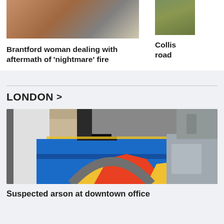[Figure (photo): Photo of a brick building exterior with what appears to be insulation or fluffy material, partially cropped at top]
Brantford woman dealing with aftermath of 'nightmare' fire
[Figure (photo): Partially visible photo of grass or ground, cropped on right side]
Collis road
LONDON >
[Figure (photo): Photo of a damaged colorful mural/signage on the ground outside a building, with burn marks and debris, showing a sun design with red and yellow rays on blue background]
Suspected arson at downtown office